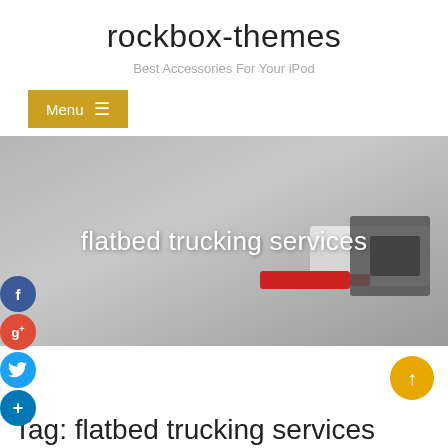rockbox-themes
Best Accessories For Your iPod
Menu ☰
[Figure (photo): Hero banner image with gray background showing USB devices or accessories in bottom-right corner, with white text 'flatbed trucking services' overlaid in the center]
Tag: flatbed trucking services